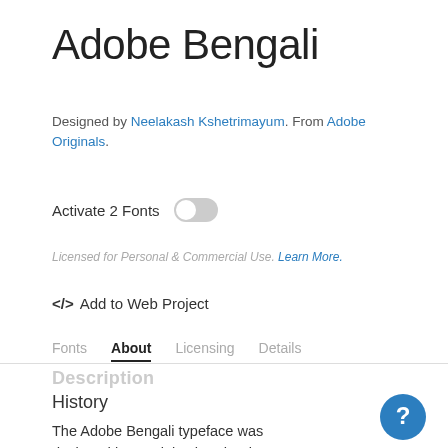Adobe Bengali
Designed by Neelakash Kshetrimayum. From Adobe Originals.
Activate 2 Fonts [toggle off]
Licensed for Personal & Commercial Use. Learn More.
</> Add to Web Project
Fonts  About  Licensing  Details
Description
History
The Adobe Bengali typeface was designed by Neelakash Kshetrimayum, with Bengali script expert Fiona Ross